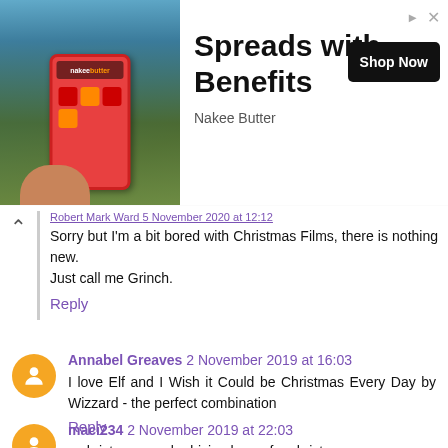[Figure (screenshot): Advertisement banner for Nakee Butter 'Spreads with Benefits' product with a phone image on left, bold title text, Shop Now button, and brand name.]
Sorry but I'm a bit bored with Christmas Films, there is nothing new.
Just call me Grinch.
Reply
Annabel Greaves 2 November 2019 at 16:03
I love Elf and I Wish it Could be Christmas Every Day by Wizzard - the perfect combination
Reply
maci234 2 November 2019 at 22:03
a christmas carol , driving home for christmas
Reply